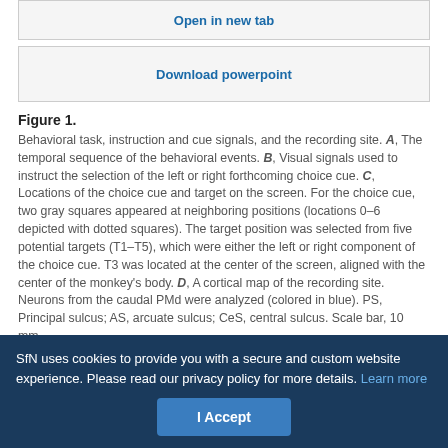Open in new tab
Download powerpoint
Figure 1.
Behavioral task, instruction and cue signals, and the recording site. A, The temporal sequence of the behavioral events. B, Visual signals used to instruct the selection of the left or right forthcoming choice cue. C, Locations of the choice cue and target on the screen. For the choice cue, two gray squares appeared at neighboring positions (locations 0–6 depicted with dotted squares). The target position was selected from five potential targets (T1–T5), which were either the left or right component of the choice cue. T3 was located at the center of the screen, aligned with the center of the monkey's body. D, A cortical map of the recording site. Neurons from the caudal PMd were analyzed (colored in blue). PS, Principal sulcus; AS, arcuate sulcus; CeS, central sulcus. Scale bar, 10 mm.
SfN uses cookies to provide you with a secure and custom website experience. Please read our privacy policy for more details. Learn more
I Accept